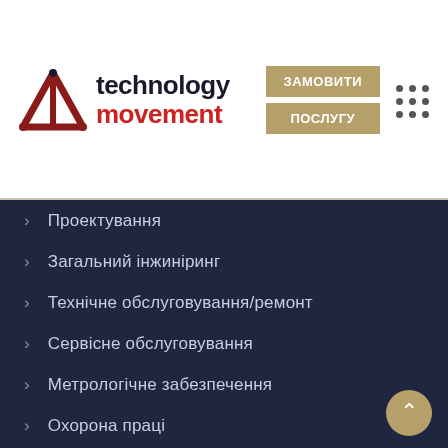[Figure (logo): Technology Movement logo with geometric T icon in dark red/black and text 'technology movement']
ЗАМОВИТИ ПОСЛУГУ
Проектування
Загальний інжиніринг
Технічне обслуговування/ремонт
Сервісне обслуговування
Метрологічне забезпечення
Охорона праці